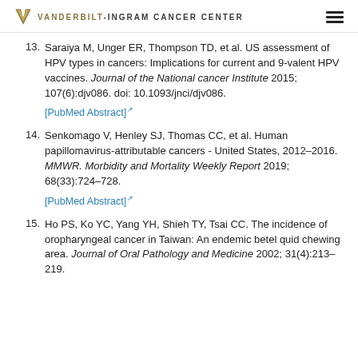VANDERBILT-INGRAM CANCER CENTER
13. Saraiya M, Unger ER, Thompson TD, et al. US assessment of HPV types in cancers: Implications for current and 9-valent HPV vaccines. Journal of the National cancer Institute 2015; 107(6):djv086. doi: 10.1093/jnci/djv086. [PubMed Abstract]
14. Senkomago V, Henley SJ, Thomas CC, et al. Human papillomavirus-attributable cancers - United States, 2012–2016. MMWR. Morbidity and Mortality Weekly Report 2019; 68(33):724–728. [PubMed Abstract]
15. Ho PS, Ko YC, Yang YH, Shieh TY, Tsai CC. The incidence of oropharyngeal cancer in Taiwan: An endemic betel quid chewing area. Journal of Oral Pathology and Medicine 2002; 31(4):213–219.